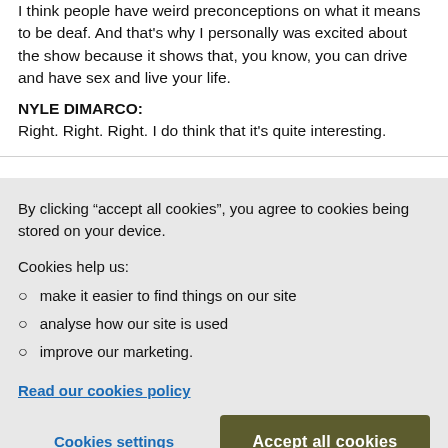I think people have weird preconceptions on what it means to be deaf. And that's why I personally was excited about the show because it shows that, you know, you can drive and have sex and live your life.
NYLE DIMARCO: Right. Right. Right. I do think that it's quite interesting.
By clicking “accept all cookies”, you agree to cookies being stored on your device.
Cookies help us:
make it easier to find things on our site
analyse how our site is used
improve our marketing.
Read our cookies policy
Cookies settings
Accept all cookies